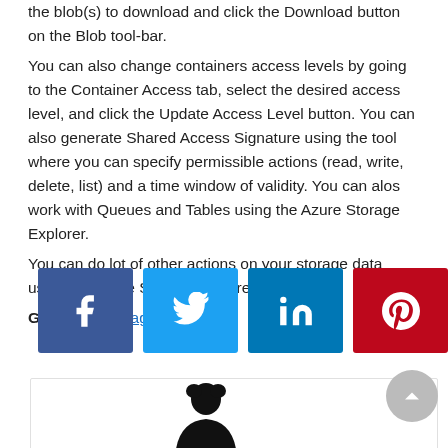the blob(s) to download and click the Download button on the Blob tool-bar.
You can also change containers access levels by going to the Container Access tab, select the desired access level, and click the Update Access Level button. You can also generate Shared Access Signature using the tool where you can specify permissible actions (read, write, delete, list) and a time window of validity. You can alos work with Queues and Tables using the Azure Storage Explorer.
You can do lot of other actions on your storage data using the Azure Storage Explorer.
Get Azure Storage Explorer
[Figure (other): Social share buttons: Facebook (blue), Twitter (light blue), LinkedIn (dark blue), Pinterest (red)]
[Figure (other): Author profile box with silhouette illustration at bottom]